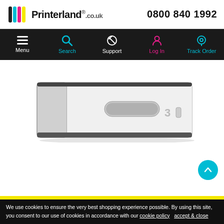[Figure (logo): Printerland.co.uk logo with colourful stripe icon on left and phone number 0800 840 1992 on right]
[Figure (infographic): Navigation bar with Menu, Search, Support, Log In, Track Order icons on dark background]
[Figure (photo): Product photo: a white printer paper tray/drawer unit with dark grey trim, handle slot in centre, number 3 label on right side]
We use cookies to ensure the very best shopping experience possible. By using this site, you consent to our use of cookies in accordance with our cookie policy   accept & close